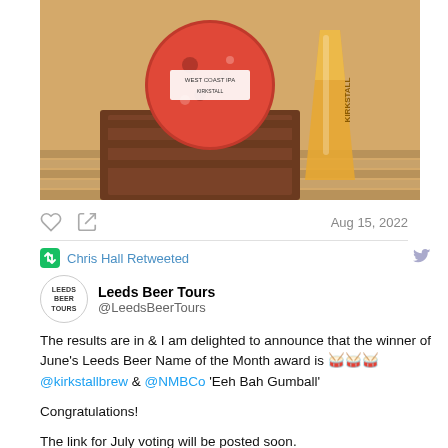[Figure (photo): Photo of a Kirkstall Brewery West Coast IPA award/medal on a wooden stand next to a glass of amber beer outdoors]
Aug 15, 2022
Chris Hall Retweeted
Leeds Beer Tours @LeedsBeerTours
The results are in & I am delighted to announce that the winner of June's Leeds Beer Name of the Month award is 🥁🥁🥁 @kirkstallbrew & @NMBCo 'Eeh Bah Gumball'
Congratulations!
The link for July voting will be posted soon.
📷 from Kirkstall Brewery's Instagram page